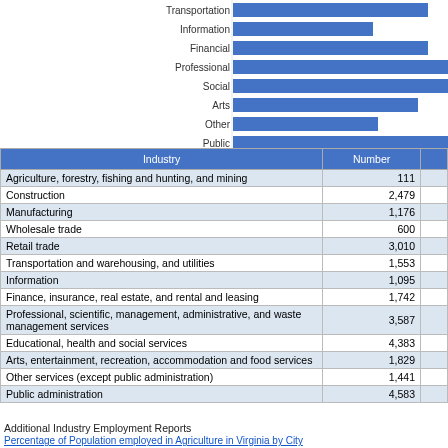[Figure (bar-chart): Industry Employment (horizontal bar chart, partial)]
| Industry | Number |
| --- | --- |
| Agriculture, forestry, fishing and hunting, and mining | 111 |
| Construction | 2,479 |
| Manufacturing | 1,176 |
| Wholesale trade | 600 |
| Retail trade | 3,010 |
| Transportation and warehousing, and utilities | 1,553 |
| Information | 1,095 |
| Finance, insurance, real estate, and rental and leasing | 1,742 |
| Professional, scientific, management, administrative, and waste management services | 3,587 |
| Educational, health and social services | 4,383 |
| Arts, entertainment, recreation, accommodation and food services | 1,829 |
| Other services (except public administration) | 1,441 |
| Public administration | 4,583 |
Additional Industry Employment Reports
Percentage of Population employed in Agriculture in Virginia by City